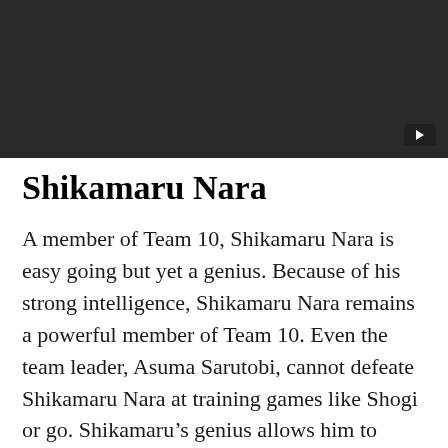[Figure (screenshot): Dark video thumbnail with a play button icon in the bottom-right corner]
Shikamaru Nara
A member of Team 10, Shikamaru Nara is easy going but yet a genius. Because of his strong intelligence, Shikamaru Nara remains a powerful member of Team 10. Even the team leader, Asuma Sarutobi, cannot defeate Shikamaru Nara at training games like Shogi or go. Shikamaru’s genius allows him to create strategy during battle.
Unfortunately, Shikamaru is often lazy preventing him from being stronger. Shikamaru often is critical and annoyed by Naruto but becomes a